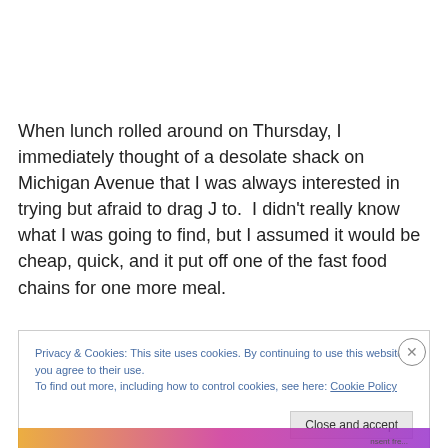When lunch rolled around on Thursday, I immediately thought of a desolate shack on Michigan Avenue that I was always interested in trying but afraid to drag J to.  I didn't really know what I was going to find, but I assumed it would be cheap, quick, and it put off one of the fast food chains for one more meal.
Privacy & Cookies: This site uses cookies. By continuing to use this website, you agree to their use.
To find out more, including how to control cookies, see here: Cookie Policy